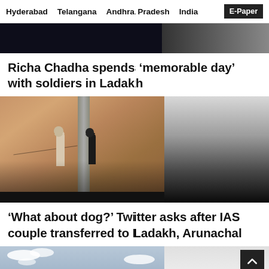Hyderabad   Telangana   Andhra Pradesh   India   E-Paper
[Figure (photo): Dark banner image, partially visible at top of page]
Richa Chadha spends ‘memorable day’ with soldiers in Ladakh
[Figure (photo): Two figures walking on a patterned surface with a pillar, warm terracotta tones on left half, dark gradient on right half]
‘What about dog?’ Twitter asks after IAS couple transferred to Ladakh, Arunachal
[Figure (photo): Landscape photo showing cloudy sky and terrain, partially visible at bottom of page]